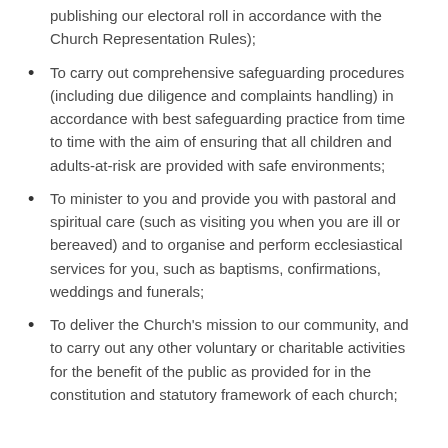publishing our electoral roll in accordance with the Church Representation Rules);
To carry out comprehensive safeguarding procedures (including due diligence and complaints handling) in accordance with best safeguarding practice from time to time with the aim of ensuring that all children and adults-at-risk are provided with safe environments;
To minister to you and provide you with pastoral and spiritual care (such as visiting you when you are ill or bereaved) and to organise and perform ecclesiastical services for you, such as baptisms, confirmations, weddings and funerals;
To deliver the Church's mission to our community, and to carry out any other voluntary or charitable activities for the benefit of the public as provided for in the constitution and statutory framework of each church; ...